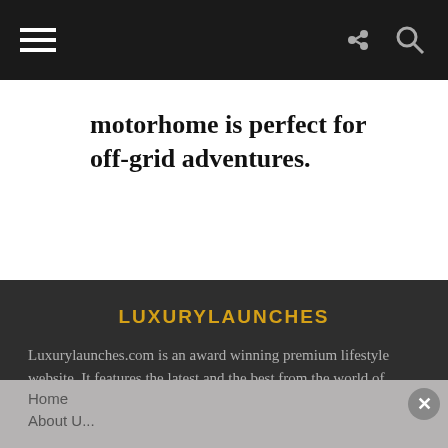Navigation bar with hamburger menu and share/search icons
motorhome is perfect for off-grid adventures.
LUXURYLAUNCHES
Luxurylaunches.com is an award winning premium lifestyle website. It features the latest and the best from the world of extravagance and opulence.
[Figure (infographic): Social media icons: Twitter bird, Facebook F, Instagram camera]
Home
About U...